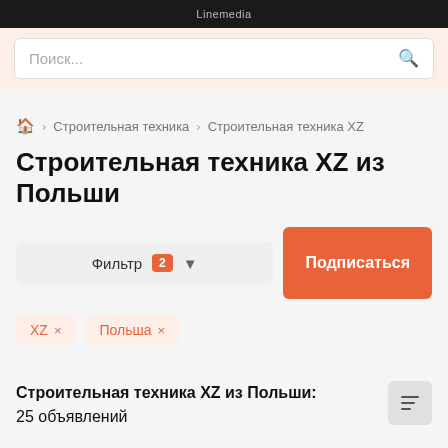Linemedia
Поиск...
🏠 > Строительная техника > Строительная техника XZ
Строительная техника XZ из Польши
Фильтр 2 | Подписаться
XZ ×
Польша ×
Строительная техника XZ из Польши:
25 объявлений